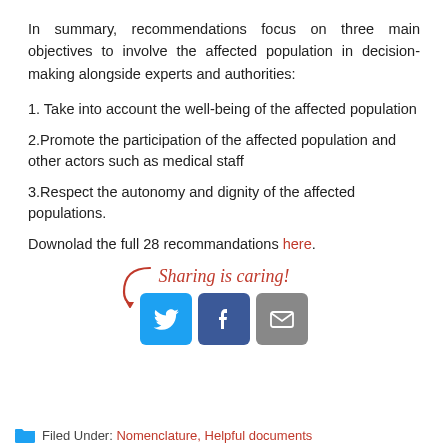In summary, recommendations focus on three main objectives to involve the affected population in decision-making alongside experts and authorities:
1. Take into account the well-being of the affected population
2.Promote the participation of the affected population and other actors such as medical staff
3.Respect the autonomy and dignity of the affected populations.
Downolad the full 28 recommandations here.
[Figure (infographic): Sharing is caring! text with arrow pointing to social media icons: Twitter (blue bird), Facebook (blue f), Email (grey envelope)]
Filed Under: Nomenclature, Helpful documents